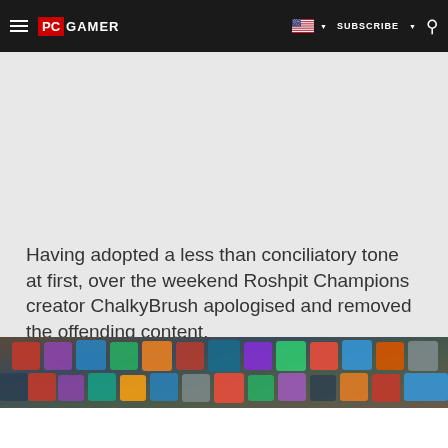PC GAMER | SUBSCRIBE
Having adopted a less than conciliatory tone at first, over the weekend Roshpit Champions creator ChalkyBrush apologised and removed the offending content.
[Figure (photo): Close-up photo of colorful board game pieces/tiles on a gaming table, showing various colored components]